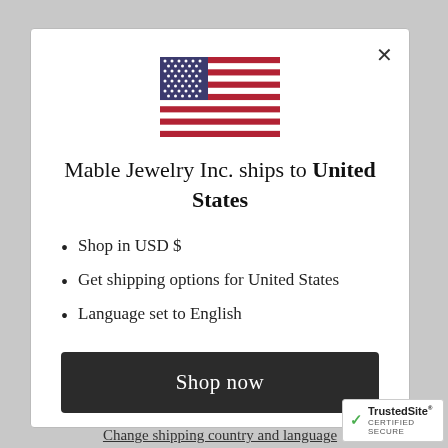[Figure (illustration): US flag icon centered at top of modal]
Mable Jewelry Inc. ships to United States
Shop in USD $
Get shipping options for United States
Language set to English
Shop now
Change shipping country and language
[Figure (logo): TrustedSite Certified Secure badge]